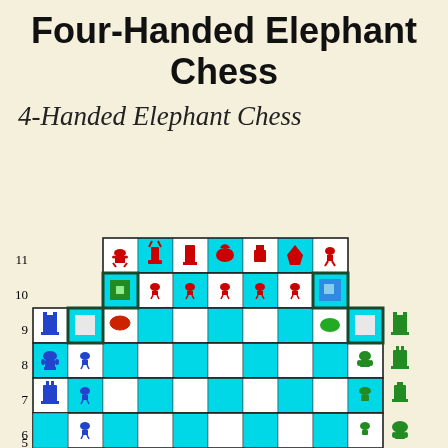Four-Handed Elephant Chess
4-Handed Elephant Chess
[Figure (other): Four-handed elephant chess board showing initial piece setup with row labels 5-11, colored pieces: red (top), blue (left), green (right), with cyan and white checkerboard pattern]